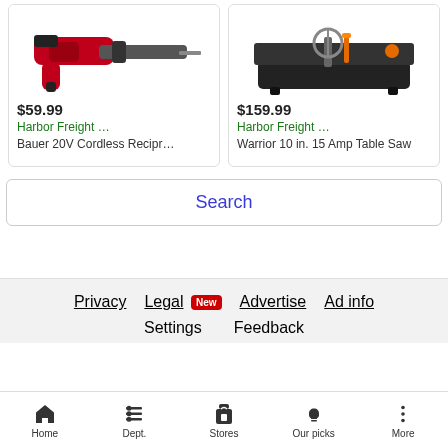[Figure (photo): Bauer 20V Cordless Reciprocating Saw product image — red and black tool]
[Figure (photo): Warrior 10 in. 15 Amp Table Saw product image — black and orange tool on black base]
$59.99
Harbor Freight …
Bauer 20V Cordless Recipr…
$159.99
Harbor Freight …
Warrior 10 in. 15 Amp Table Saw
Search
Privacy
Legal
New
Advertise
Ad info
Settings
Feedback
Home
Dept.
Stores
Our picks
More